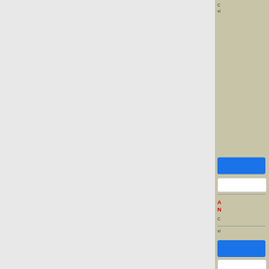[Figure (screenshot): Left light gray panel taking up left portion of page]
[Figure (screenshot): Dark navy/black center panel]
[Figure (screenshot): Right sidebar with beige/tan background containing UI elements: text at top, blue button, white button, divider, red bold title text, more text, dividers, blue button, white button at bottom]